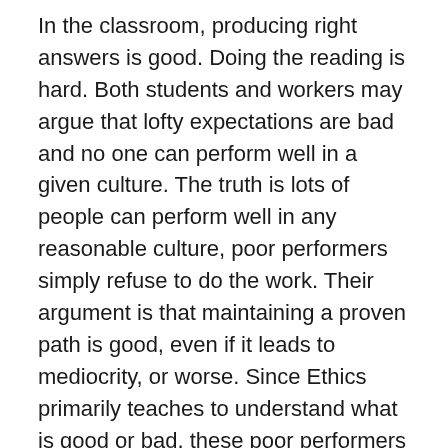In the classroom, producing right answers is good. Doing the reading is hard. Both students and workers may argue that lofty expectations are bad and no one can perform well in a given culture. The truth is lots of people can perform well in any reasonable culture, poor performers simply refuse to do the work. Their argument is that maintaining a proven path is good, even if it leads to mediocrity, or worse. Since Ethics primarily teaches to understand what is good or bad, these poor performers have a legitimate argument. Unfortunately, the argument is wrong in a high performance culture. Individuals may defend their inferiority. But, they lose the right to the rewards of superior performance. So if you argue for your limitations, then you get to keep them!
Grace is Grace, not Quid Pro Quo
In cultures moving toward a goal, occasionally a need for